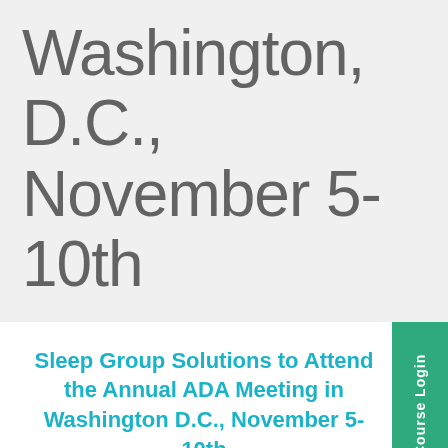Washington, D.C., November 5-10th
Sleep Group Solutions to Attend the Annual ADA Meeting in Washington D.C., November 5-10th
The Dental Sleep Medicine education, instrumentation, and in-office training company, Sleep Group Solutions will be in booth 431 with free seminars, merchandise, and education on sleep apnea screening and treatment.